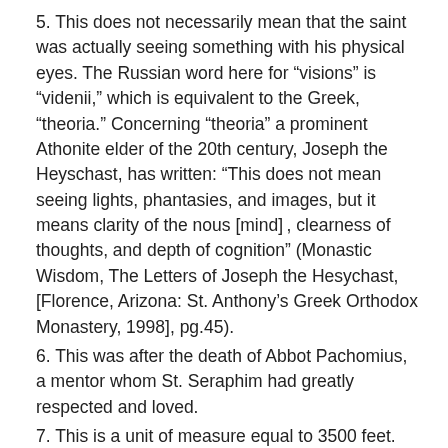5. This does not necessarily mean that the saint was actually seeing something with his physical eyes. The Russian word here for “visions” is “videnii,” which is equivalent to the Greek, “theoria.” Concerning “theoria” a prominent Athonite elder of the 20th century, Joseph the Heyschast, has written: “This does not mean seeing lights, phantasies, and images, but it means clarity of the nous [mind] , clearness of thoughts, and depth of cognition” (Monastic Wisdom, The Letters of Joseph the Hesychast, [Florence, Arizona: St. Anthony’s Greek Orthodox Monastery, 1998], pg.45).
6. This was after the death of Abbot Pachomius, a mentor whom St. Seraphim had greatly respected and loved.
7. This is a unit of measure equal to 3500 feet.
8. These are daily readings from the Gospels and Acts or Epistles as set by the Orthodox Church.